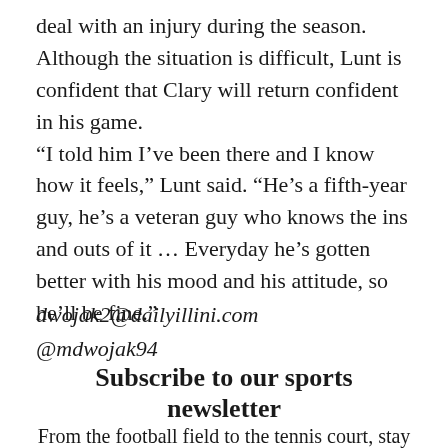deal with an injury during the season. Although the situation is difficult, Lunt is confident that Clary will return confident in his game. “I told him I’ve been there and I know how it feels,” Lunt said. “He’s a fifth-year guy, he’s a veteran guy who knows the ins and outs of it … Everyday he’s gotten better with his mood and his attitude, so he’ll be fine.”
dwojak2@dailyillini.com
@mdwojak94
Subscribe to our sports newsletter
From the football field to the tennis court, stay